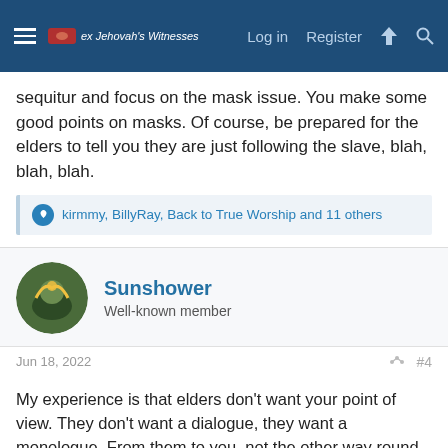ex Jehovah's Witnesses — Log in  Register
sequitur and focus on the mask issue. You make some good points on masks. Of course, be prepared for the elders to tell you they are just following the slave, blah, blah, blah.
kirmmy, BillyRay, Back to True Worship and 11 others
Sunshower
Well-known member
Jun 18, 2022
#4
My experience is that elders don't want your point of view. They don't want a dialogue, they want a monologue. From them to you, not the other way round. You will never get satisfaction in telling your side of the story, cause they don't care.
The best advice I can give you is if you can avoid the talk due to "personal circumstances" by all means try to get out of the talk altogether. No explanation needs to be given as they have to